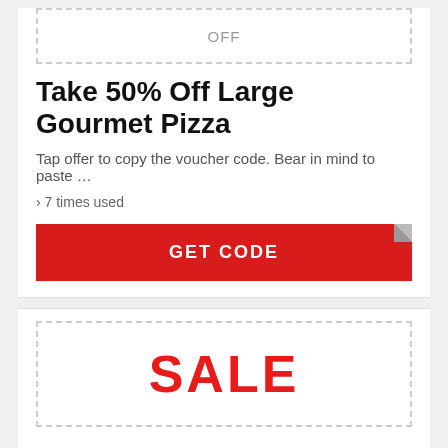[Figure (other): Dashed border box with 'OFF' text label inside, representing a coupon/offer badge]
Take 50% Off Large Gourmet Pizza
Tap offer to copy the voucher code. Bear in mind to paste …
› 7 times used
GET CODE
[Figure (other): Dashed border box with 'SALE' text label inside in red, representing a sale badge]
Free Large Traditional Or Gourmet When You Buy 1 Large Pizza
Tap deal to duplicate the voucher code. Keep in mind to p…